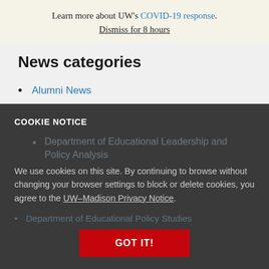Learn more about UW's COVID-19 response. Dismiss for 8 hours
News categories
Alumni News
Art Department
Cooperative Children's Book Center
COOKIE NOTICE
We use cookies on this site. By continuing to browse without changing your browser settings to block or delete cookies, you agree to the UW–Madison Privacy Notice.
GOT IT!